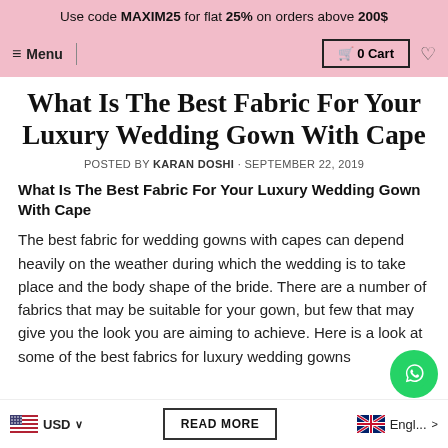Use code MAXIM25 for flat 25% on orders above 200$
≡ Menu   🛒 0 Cart  ♡
What Is The Best Fabric For Your Luxury Wedding Gown With Cape
POSTED BY KARAN DOSHI · SEPTEMBER 22, 2019
What Is The Best Fabric For Your Luxury Wedding Gown With Cape
The best fabric for wedding gowns with capes can depend heavily on the weather during which the wedding is to take place and the body shape of the bride. There are a number of fabrics that may be suitable for your gown, but few that may give you the look you are aiming to achieve. Here is a look at some of the best fabrics for luxury wedding gowns
🇺🇸 USD ∨
READ MORE
🇬🇧 English >